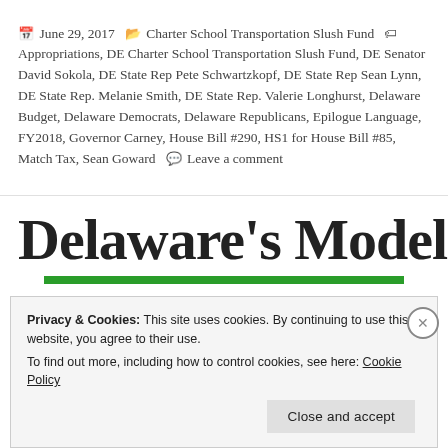June 29, 2017  Charter School Transportation Slush Fund  Appropriations, DE Charter School Transportation Slush Fund, DE Senator David Sokola, DE State Rep Pete Schwartzkopf, DE State Rep Sean Lynn, DE State Rep. Melanie Smith, DE State Rep. Valerie Longhurst, Delaware Budget, Delaware Democrats, Delaware Republicans, Epilogue Language, FY2018, Governor Carney, House Bill #290, HS1 for House Bill #85, Match Tax, Sean Goward  Leave a comment
[Figure (other): Partially visible bold large text heading, obscured by cookie consent overlay]
Privacy & Cookies: This site uses cookies. By continuing to use this website, you agree to their use.
To find out more, including how to control cookies, see here: Cookie Policy